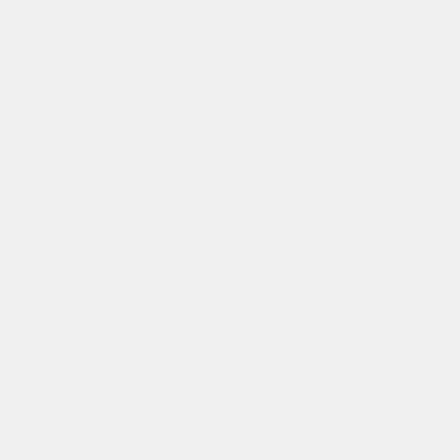OMB Circular A130, 57 Fed. Reg. 18,296 (Apr. 29, 1992).
2002 (Mar. 2013), available at http://www.whitehouse.gov/sites/default/files/omb/as
Guidance on Inter-Agency Sharing of Personal Data